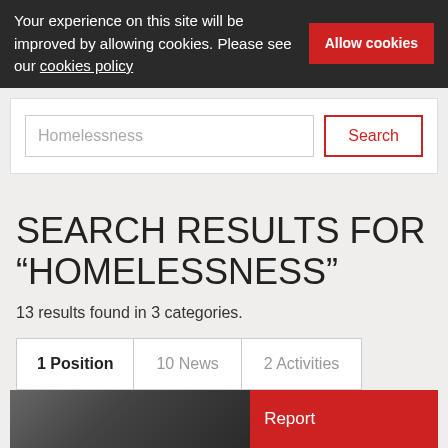Your experience on this site will be improved by allowing cookies. Please see our cookies policy  Allow cookies
[Figure (screenshot): Search input box with placeholder text 'Homelessness' and a red-outlined 'Search' button]
SEARCH RESULTS FOR “HOMELESSNESS”
13 results found in 3 categories.
1 Position   10 News   2 Activities
[Figure (photo): Partial view of a card strip showing a dark photo on the left and a red label reading 'Report' on the right]